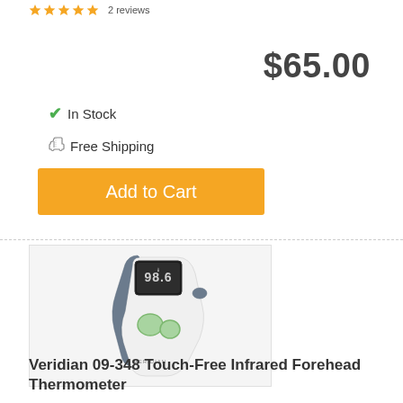2 reviews
$65.00
✔ In Stock
👍 Free Shipping
Add to Cart
[Figure (photo): Veridian 09-348 Touch-Free Infrared Forehead Thermometer product photo showing a white handheld thermometer with gray and green accents, digital display showing 98.6, with VERIDIAN branding]
Veridian 09-348 Touch-Free Infrared Forehead Thermometer